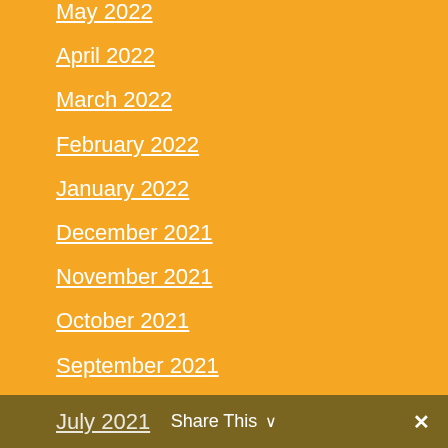May 2022
April 2022
March 2022
February 2022
January 2022
December 2021
November 2021
October 2021
September 2021
August 2021
July 2021
Share This ✓ ✕